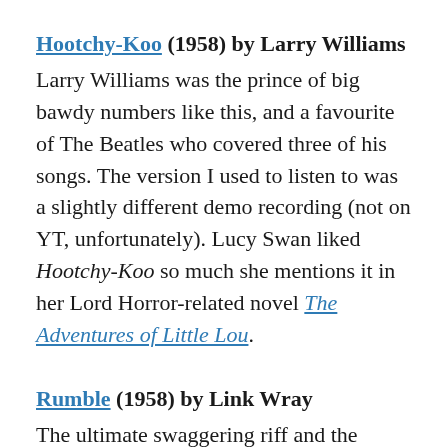Hootchy-Koo (1958) by Larry Williams
Larry Williams was the prince of big bawdy numbers like this, and a favourite of The Beatles who covered three of his songs. The version I used to listen to was a slightly different demo recording (not on YT, unfortunately). Lucy Swan liked Hootchy-Koo so much she mentions it in her Lord Horror-related novel The Adventures of Little Lou.
Rumble (1958) by Link Wray
The ultimate swaggering riff and the moment where the guitar takes over from the saxophone as the locus of menace in popular music. Most people have probably heard this in the background of the Jack Rabbit Slim's scene